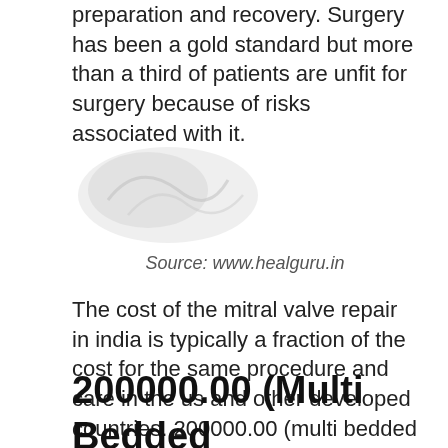preparation and recovery. Surgery has been a gold standard but more than a third of patients are unfit for surgery because of risks associated with it.
[Figure (illustration): Faded/watermark-style illustration, partially visible in upper left area]
Source: www.healguru.in
The cost of the mitral valve repair in india is typically a fraction of the cost for the same procedure and care in the us and other developed countries. 200000.00 (multi bedded (excluding cost of valve)) heart valve replacement surgery:
200000.00 (Multi Bedded (Excluding Cost Of Valve))